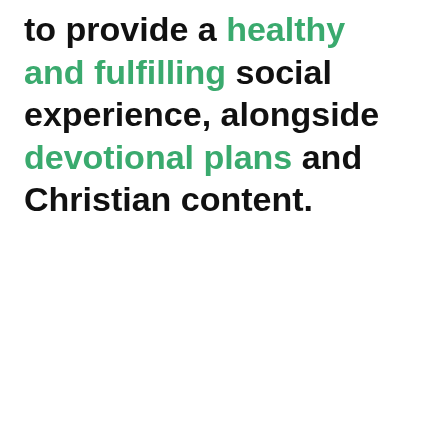to provide a healthy and fulfilling social experience, alongside devotional plans and Christian content.
We are passionate about
We use cookies on our website to give you the most relevant experience by remembering your preferences and repeat visits. By clicking "Accept All", you consent to the use of ALL the cookies. However, you may visit "Cookie Settings" to provide a controlled consent.